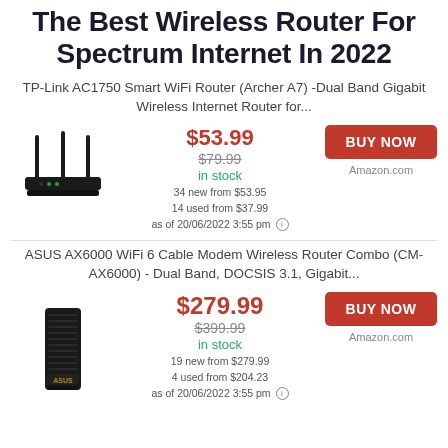The Best Wireless Router For Spectrum Internet In 2022
TP-Link AC1750 Smart WiFi Router (Archer A7) -Dual Band Gigabit Wireless Internet Router for...
[Figure (photo): TP-Link black wireless router with three antennas]
$53.99 sale price, $79.99 original price, in stock, 34 new from $53.95, 14 used from $37.99, as of 20/06/2022 3:55 pm
BUY NOW - Amazon.com
ASUS AX6000 WiFi 6 Cable Modem Wireless Router Combo (CM-AX6000) - Dual Band, DOCSIS 3.1, Gigabit...
[Figure (photo): ASUS black vertical cable modem wireless router]
$279.99 sale price, $399.99 original price, in stock, 19 new from $279.99, 4 used from $204.23, as of 20/06/2022 3:55 pm
BUY NOW - Amazon.com